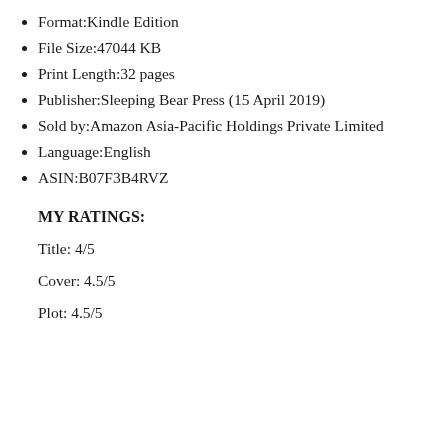Format:Kindle Edition
File Size:47044 KB
Print Length:32 pages
Publisher:Sleeping Bear Press (15 April 2019)
Sold by:Amazon Asia-Pacific Holdings Private Limited
Language:English
ASIN:B07F3B4RVZ
MY RATINGS:
Title: 4/5
Cover: 4.5/5
Plot: 4.5/5